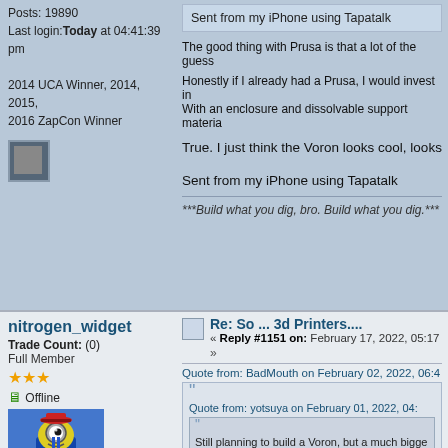Posts: 19890
Last login: Today at 04:41:39 pm
2014 UCA Winner, 2014, 2015, 2016 ZapCon Winner
Sent from my iPhone using Tapatalk
The good thing with Prusa is that a lot of the guess
Honestly if I already had a Prusa, I would invest in With an enclosure and dissolvable support materia
True. I just think the Voron looks cool, looks
Sent from my iPhone using Tapatalk
***Build what you dig, bro. Build what you dig.***
nitrogen_widget
Trade Count: (0)
Full Member
[Figure (photo): Avatar image of a Minion toy figure with red hat on purple background]
Re: So ... 3d Printers....
« Reply #1151 on: February 17, 2022, 05:17
Quote from: BadMouth on February 02, 2022, 06:4
Quote from: yotsuya on February 01, 2022, 04:
Still planning to build a Voron, but a much bigge wanted a upgraded experience, so I took the pl print my Voron parts. I've had great fun with the